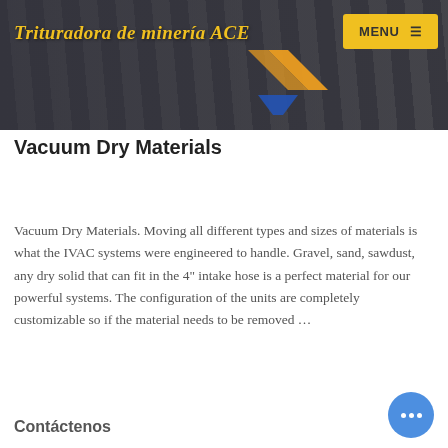Trituradora de minería ACE
[Figure (photo): Industrial machinery / mining equipment background photo with dark overlay. Site header image.]
Vacuum Dry Materials
Vacuum Dry Materials. Moving all different types and sizes of materials is what the IVAC systems were engineered to handle. Gravel, sand, sawdust, any dry solid that can fit in the 4" intake hose is a perfect material for our powerful systems. The configuration of the units are completely customizable so if the material needs to be removed …
Contáctenos